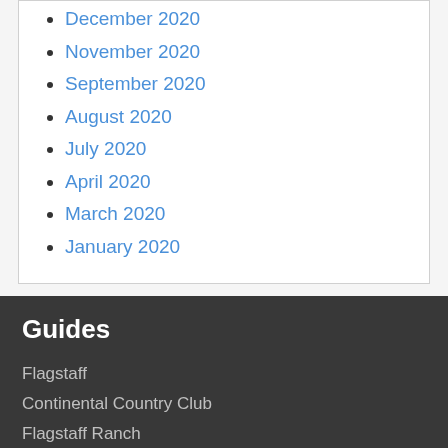December 2020
November 2020
September 2020
August 2020
July 2020
April 2020
March 2020
January 2020
Guides
Flagstaff
Continental Country Club
Flagstaff Ranch
Forest Highlands
Munds Park
More Guides >